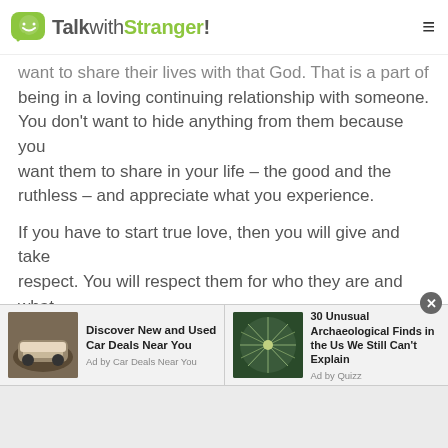TalkwithStranger!
want to share their lives with that God. That is a part of being in a loving continuing relationship with someone. You don't want to hide anything from them because you want them to share in your life – the good and the ruthless – and appreciate what you experience.
If you have to start true love, then you will give and take respect. You will respect them for who they are and what they do in the all God's creatures, including with you. You will see the good in them. Pleasure them as a human being and view them as your equivalent, not your higher or someone who is inferior to you. And, they will please you with the same level of respect.
[Figure (screenshot): Ad banner with two items: 'Discover New and Used Car Deals Near You' by Car Deals Near You, and '30 Unusual Archaeological Finds in the Us We Still Can't Explain' by Quizz. A close button (X) is shown top right of the banner.]